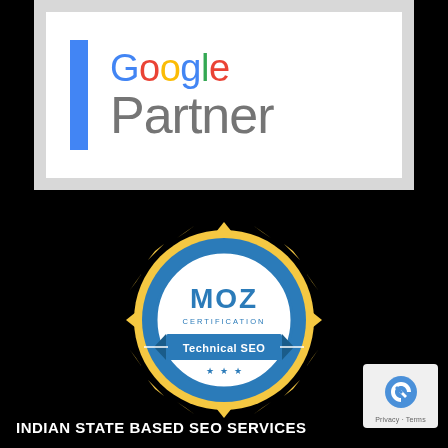[Figure (logo): Google Partner logo with blue vertical bar on left, 'Google' text in multicolor and 'Partner' text in gray below]
[Figure (logo): MOZ Certification badge - Technical SEO. Golden gear/sunburst outer ring, blue circular inner ring, white center with 'MOZ CERTIFICATION' text and blue ribbon banner reading 'Technical SEO' with three stars below]
[Figure (logo): reCAPTCHA logo in small white/gray box at bottom right, with 'Privacy - Terms' text below]
INDIAN STATE BASED SEO SERVICES